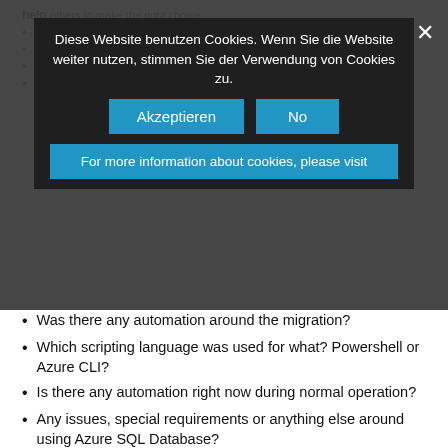How did you migrate to Azure SQL Database?
Were there any challenges during the migration?
Which problems occurred during your migration?
[Figure (screenshot): Cookie consent banner overlay in German: 'Diese Website benutzen Cookies. Wenn Sie die Website weiter nutzen, stimmen Sie der Verwendung von Cookies zu.' with 'Akzeptieren' and 'No' buttons, and 'For more information about cookies, please visit' info bar. Close X button top right.]
Was there any automation around the migration?
Which scripting language was used for what? Powershell or Azure CLI?
Is there any automation right now during normal operation?
Any issues, special requirements or anything else around using Azure SQL Database?
How do you monitor the database?
How do you do database maintenance?
Do you use the builtin tuning options?
Simply write about all of your experiences with Azure SQL Database or Azure Managed Instance. Even if you don't see a